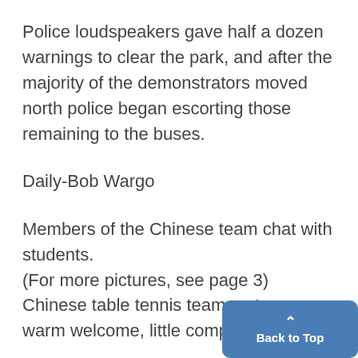Police loudspeakers gave half a dozen warnings to clear the park, and after the majority of the demonstrators moved north police began escorting those remaining to the buses.
Daily-Bob Wargo
Members of the Chinese team chat with students.
(For more pictures, see page 3)
Chinese table tennis team met warm welcome, little competitio